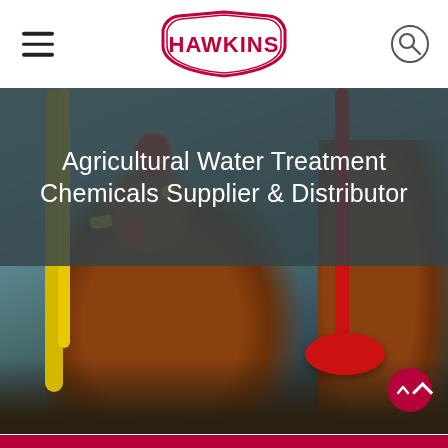Hawkins logo, navigation menu, search icon
Agricultural Water Treatment Chemicals Supplier & Distributor
[Figure (photo): A close-up photo of a brown hen drinking from a red poultry water dispenser, with yellow feeding equipment visible on the left and another chicken in the background on the right.]